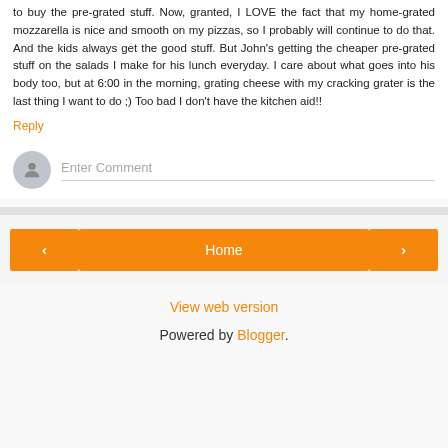to buy the pre-grated stuff. Now, granted, I LOVE the fact that my home-grated mozzarella is nice and smooth on my pizzas, so I probably will continue to do that. And the kids always get the good stuff. But John's getting the cheaper pre-grated stuff on the salads I make for his lunch everyday. I care about what goes into his body too, but at 6:00 in the morning, grating cheese with my cracking grater is the last thing I want to do ;) Too bad I don't have the kitchen aid!!
Reply
Enter Comment
Home
View web version
Powered by Blogger.